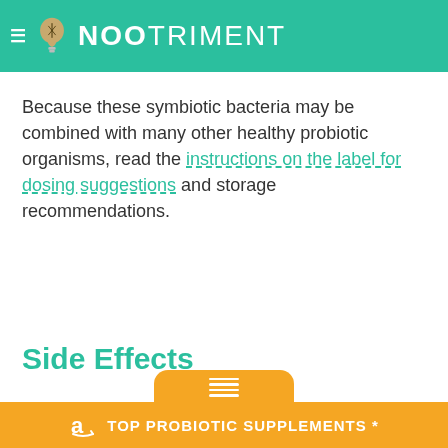NOOTRIMENT
Because these symbiotic bacteria may be combined with many other healthy probiotic organisms, read the instructions on the label for dosing suggestions and storage recommendations.
Side Effects
TOP PROBIOTIC SUPPLEMENTS *